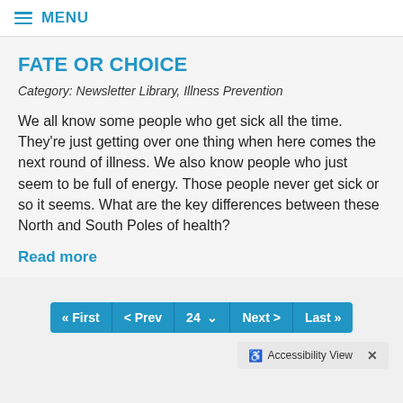≡ MENU
FATE OR CHOICE
Category: Newsletter Library, Illness Prevention
We all know some people who get sick all the time. They're just getting over one thing when here comes the next round of illness. We also know people who just seem to be full of energy. Those people never get sick or so it seems. What are the key differences between these North and South Poles of health?
Read more
« First  < Prev  24 ∨  Next >  Last »
♿ Accessibility View  ×